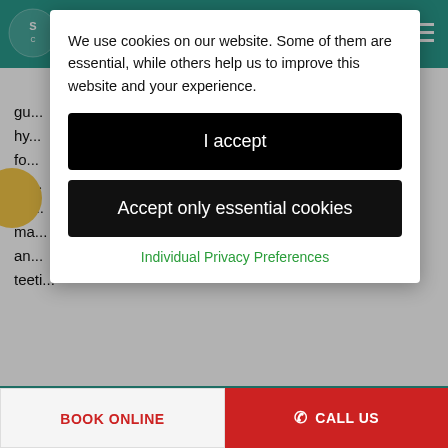S C (dental/orthodontic clinic header with logo and menu)
We use cookies on our website. Some of them are essential, while others help us to improve this website and your experience.
I accept
Accept only essential cookies
Individual Privacy Preferences
Retention:  After treatment is completed we normally place removable (similar to a clear aligners, but non pressurised) or fixed retainers (thin wire bonded to back of teeth) to hold them in their new position.  Over time these can wear down or de-bond and they may need replacing, extra fees will be due when and if they need replacing.
BOOK ONLINE   CALL US